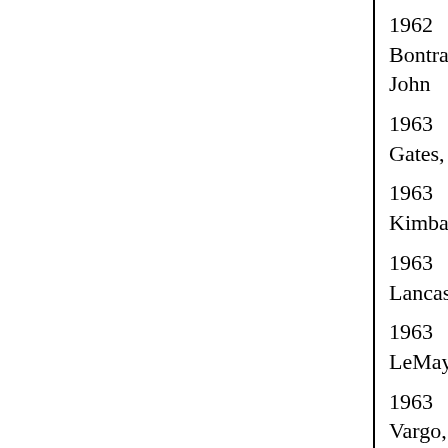| 1962 | Bontragger, John |
| 1963 | Gates, Dale |
| 1963 | Kimball, Jim |
| 1963 | Lancaster, Don |
| 1963 | LeMay, Ray |
| 1963 | Vargo, Clarence |
| 1964 | Reynolds, Bob |